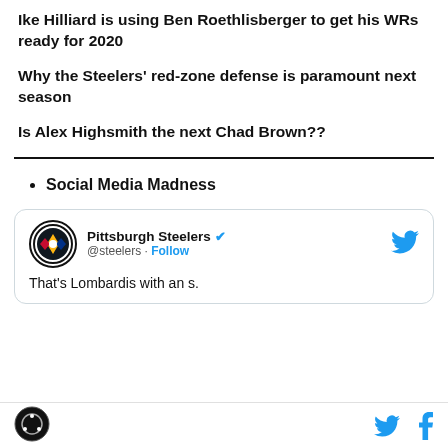Ike Hilliard is using Ben Roethlisberger to get his WRs ready for 2020
Why the Steelers' red-zone defense is paramount next season
Is Alex Highsmith the next Chad Brown??
Social Media Madness
[Figure (screenshot): Pittsburgh Steelers verified Twitter account tweet card. Handle: @steelers. Follow button. Tweet text: That's Lombardis with an s.]
Footer with site logo and Twitter/Facebook share icons